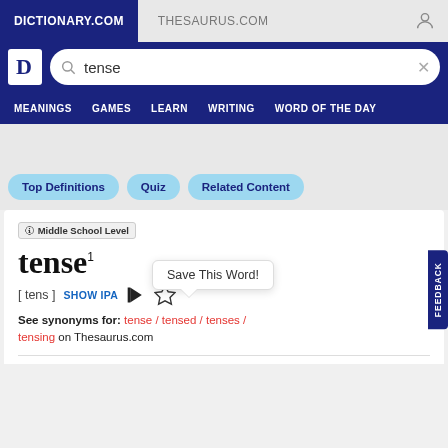DICTIONARY.COM | THESAURUS.COM
[Figure (screenshot): Dictionary.com search bar with logo and search term 'tense']
MEANINGS  GAMES  LEARN  WRITING  WORD OF THE DAY
Top Definitions  Quiz  Related Content
🛈 Middle School Level
Save This Word!
tense¹
[ tens ]  SHOW IPA  🔊  ☆
See synonyms for: tense / tensed / tenses / tensing on Thesaurus.com